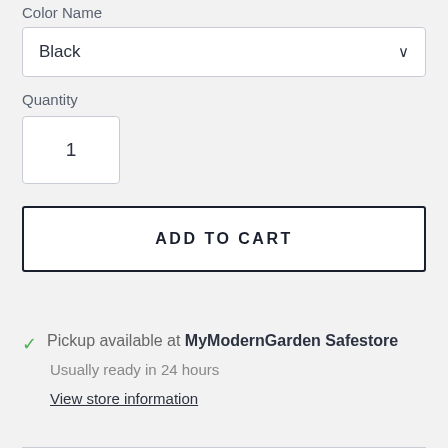Color Name
Black
Quantity
1
ADD TO CART
Pickup available at MyModernGarden Safestore
Usually ready in 24 hours
View store information